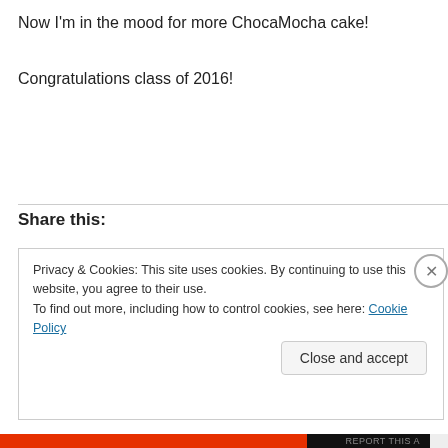Now I'm in the mood for more ChocaMocha cake!
Congratulations class of 2016!
Share this:
Privacy & Cookies: This site uses cookies. By continuing to use this website, you agree to their use.
To find out more, including how to control cookies, see here: Cookie Policy
Close and accept